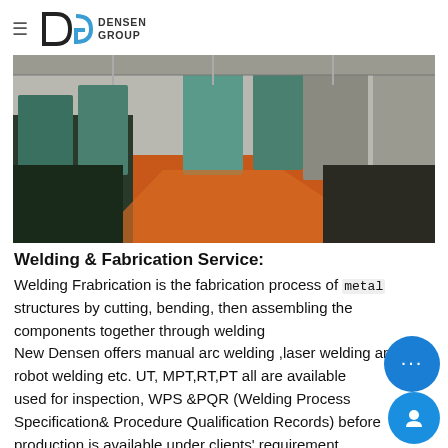≡ DENSEN GROUP
[Figure (photo): Interior of a large industrial manufacturing facility with green machinery, red/orange painted floor lane, and heavy metal fabrication equipment]
Welding & Fabrication Service:
Welding Frabrication is the fabrication process of metal structures by cutting, bending, then assembling the components together through welding  New Densen offers manual arc welding ,laser welding and robot welding etc. UT, MPT,RT,PT all are available used for inspection, WPS &PQR (Welding Process Specification& Procedure Qualification Records) before production is available under clients' requirement.